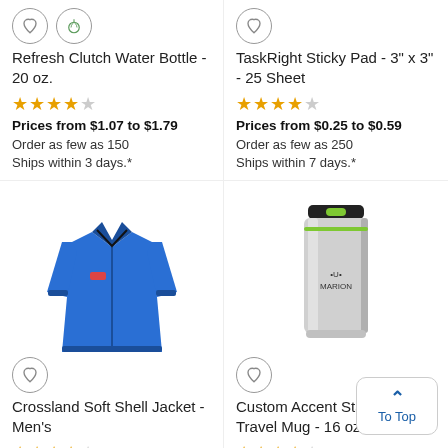[Figure (illustration): Heart icon and eco/leaf icon circles for Refresh Clutch Water Bottle]
Refresh Clutch Water Bottle - 20 oz.
★★★★☆
Prices from $1.07 to $1.79
Order as few as 150
Ships within 3 days.*
[Figure (illustration): Heart icon circle for TaskRight Sticky Pad]
TaskRight Sticky Pad - 3" x 3" - 25 Sheet
★★★★☆
Prices from $0.25 to $0.59
Order as few as 250
Ships within 7 days.*
[Figure (photo): Blue Crossland Soft Shell Jacket - Men's product photo]
[Figure (illustration): Heart icon circle for Crossland Soft Shell Jacket]
Crossland Soft Shell Jacket - Men's
★★★★☆
[Figure (photo): Silver Custom Accent Stainless Travel Mug 16 oz with green lid]
[Figure (illustration): Heart icon circle for Custom Accent Stainless Travel Mug]
Custom Accent Stainless Travel Mug - 16 oz.
★★★★☆